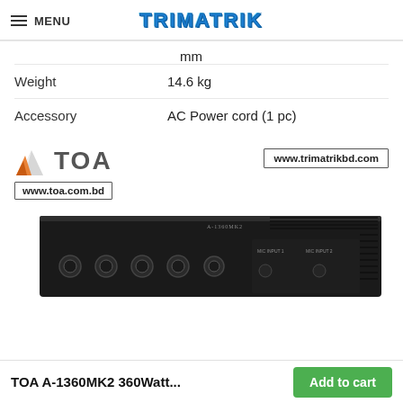MENU | TRIMATRIK
mm
|  |  |
| --- | --- |
| Weight | 14.6 kg |
| Accessory | AC Power cord (1 pc) |
[Figure (logo): TOA logo with orange/grey triangular icon and text 'TOA', with URLs www.toa.com.bd and www.trimatrikbd.com]
[Figure (photo): Photo of a black TOA A-1360MK2 360W amplifier rack unit, front panel visible with knobs]
TOA A-1360MK2 360Watt... | Add to cart